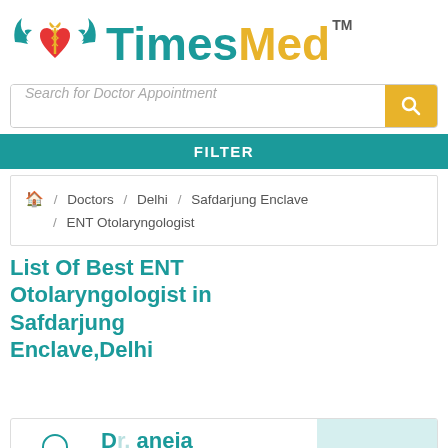[Figure (logo): TimesMed logo with teal wings/medical symbol and yellow-teal brand text with TM mark]
Search for Doctor Appointment
FILTER
🏠 / Doctors / Delhi / Safdarjung Enclave / ENT Otolaryngologist
List Of Best ENT Otolaryngologist in Safdarjung Enclave,Delhi
Near Me
D...aneja
MBBS, MD - Dermatology, PG Diplo... Clinical Cosmetology (PGDCC)
Open in App
DOCTOR